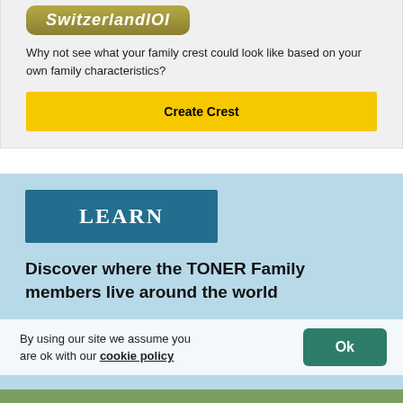[Figure (logo): SwitzerlandIOI logo button with olive/gold gradient background and italic white text]
Why not see what your family crest could look like based on your own family characteristics?
Create Crest
LEARN
Discover where the TONER Family members live around the world
By using our site we assume you are ok with our cookie policy
Ok